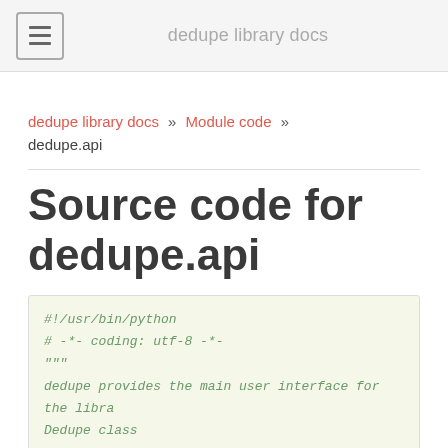dedupe library docs
dedupe library docs » Module code » dedupe.api
Source code for dedupe.api
#!/usr/bin/python
# -*- coding: utf-8 -*-
"""
dedupe provides the main user interface for the libra
Dedupe class
"""

from __future__ import annotations